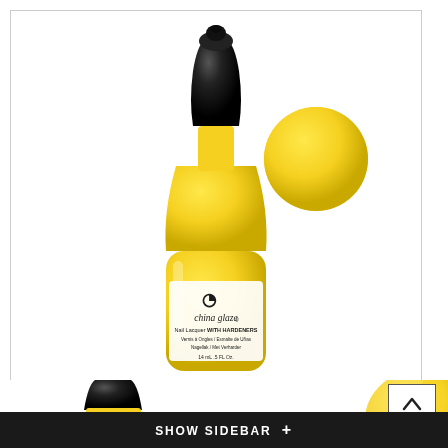[Figure (photo): China Glaze bright yellow nail lacquer bottle with black cap, shown with a yellow nail polish droplet/swatch circle to the right. Label reads: china glaze Nail Lacquer WITH HARDENERS, Vernis à Ongles / Esmalte de Uñas, Nagellak / Met Verharder, 14 mL .5 FL Oz.]
[Figure (photo): Partial bottom view of the same China Glaze yellow nail lacquer bottle (cropped), with small yellow droplet and large yellow swatch/cap visible]
SHOW SIDEBAR  +